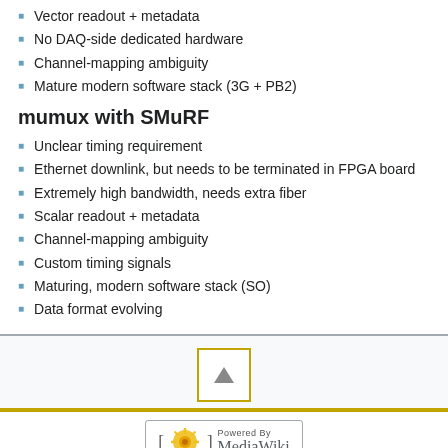Vector readout + metadata
No DAQ-side dedicated hardware
Channel-mapping ambiguity
Mature modern software stack (3G + PB2)
mumux with SMuRF
Unclear timing requirement
Ethernet downlink, but needs to be terminated in FPGA board
Extremely high bandwidth, needs extra fiber
Scalar readout + metadata
Channel-mapping ambiguity
Custom timing signals
Maturing, modern software stack (SO)
Data format evolving
[Figure (other): Scroll to top button with upward triangle arrow, bordered in gold/yellow]
[Figure (logo): Powered by MediaWiki badge with sunflower logo]
This page was last edited on 19 October 2019, at 12:20.  Privacy policy  About  CMB-S4 wiki  Disclaimers